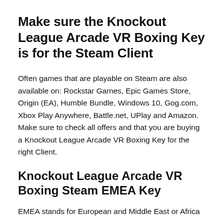Make sure the Knockout League Arcade VR Boxing Key is for the Steam Client
Often games that are playable on Steam are also available on: Rockstar Games, Epic Games Store, Origin (EA), Humble Bundle, Windows 10, Gog.com, Xbox Play Anywhere, Battle.net, UPlay and Amazon. Make sure to check all offers and that you are buying a Knockout League Arcade VR Boxing Key for the right Client.
Knockout League Arcade VR Boxing Steam EMEA Key
EMEA stands for European and Middle East or Africa